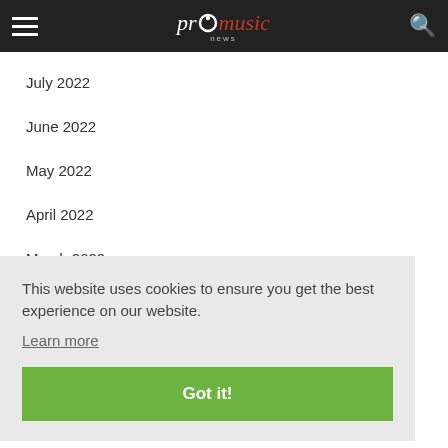promusic news
July 2022
June 2022
May 2022
April 2022
March 2022
February 2022
This website uses cookies to ensure you get the best experience on our website. Learn more
July 2021